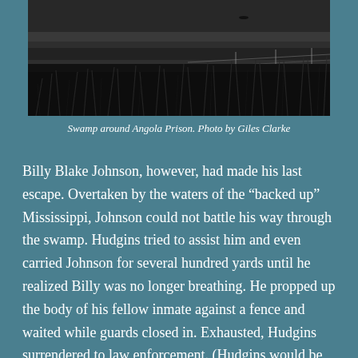[Figure (photo): Black and white photograph of swamp around Angola Prison, showing water, vegetation, and fencing in a dark landscape.]
Swamp around Angola Prison. Photo by Giles Clarke
Billy Blake Johnson, however, had made his last escape. Overtaken by the waters of the “backed up” Mississippi, Johnson could not battle his way through the swamp. Hudgins tried to assist him and even carried Johnson for several hundred yards until he realized Billy was no longer breathing. He propped up the body of his fellow inmate against a fence and waited while guards closed in. Exhausted, Hudgins surrendered to law enforcement. (Hudgins would be released from prison in 1981. In